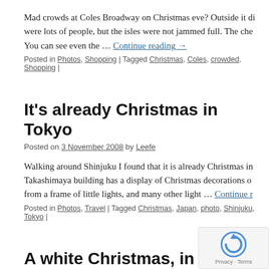Mad crowds at Coles Broadway on Christmas eve? Outside it di… were lots of people, but the isles were not jammed full. The che… You can see even the … Continue reading →
Posted in Photos, Shopping | Tagged Christmas, Coles, crowded, Shopping |
It's already Christmas in Tokyo
Posted on 3 November 2008 by Leefe
Walking around Shinjuku I found that it is already Christmas in… Takashimaya building has a display of Christmas decorations o… from a frame of little lights, and many other light … Continue r…
Posted in Photos, Travel | Tagged Christmas, Japan, photo, Shinjuku, Tokyo |
A white Christmas, in Australia?
Posted on 26 December 2006 by Leefe
[Figure (other): reCAPTCHA widget showing a refresh icon and 'Privacy - Terms' text]